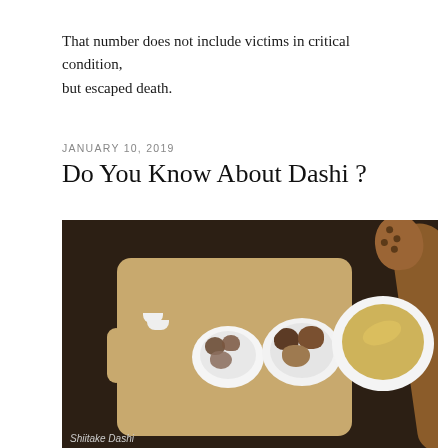That number does not include victims in critical condition, but escaped death.
JANUARY 10, 2019
Do You Know About Dashi ?
[Figure (photo): Overhead photo of a wooden cutting board with two small white bowls of dried shiitake mushrooms and one large white bowl of golden broth (dashi), plus a wooden slotted spoon, on a dark wood background.]
Shiitake Dashi